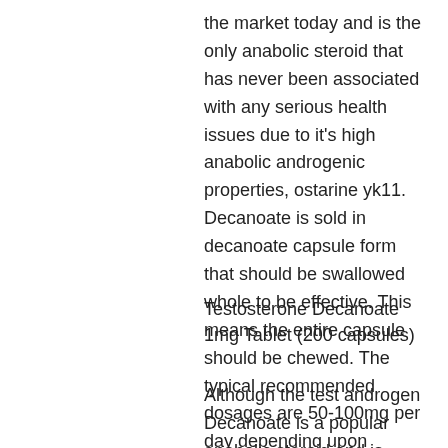the market today and is the only anabolic steroid that has never been associated with any serious health issues due to it's high anabolic androgenic properties, ostarine yk11. Decanoate is sold in decanoate capsule form that should be swallowed whole to be effective. This means the entire capsule should be chewed. The typical recommended dosages are 50-100mg per day depending upon individual response, and the potential side effect risks of this drug, testosterone cypionate expiration.
Testosterone Decanoate 1mg Tablet (200 capsules)
Although the test androgen Decanoate is a popular anabolic steroid and is frequently used by bodybuilders and athletes, it is also very popular among recreational users because of its relatively low cost,